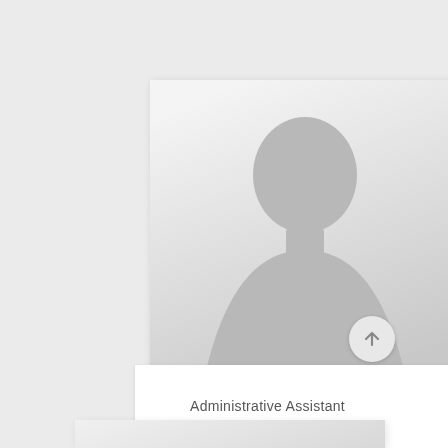[Figure (illustration): Profile card with a generic silhouette placeholder avatar (gray gradient background with a faceless person outline). Below the avatar is a white name plate area.]
Administrative Assistant
KRISTA ROBINSON